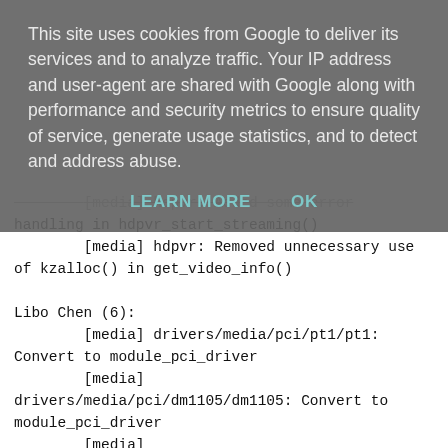This site uses cookies from Google to deliver its services and to analyze traffic. Your IP address and user-agent are shared with Google along with performance and security metrics to ensure quality of service, generate usage statistics, and to detect and address abuse.
LEARN MORE   OK
[media] hdpvr: Added some error handling in hdpvr_start_streaming()
        [media] hdpvr: Removed unnecessary use of kzalloc() in get_video_info()

Libo Chen (6):
        [media] drivers/media/pci/pt1/pt1: Convert to module_pci_driver
        [media] drivers/media/pci/dm1105/dm1105: Convert to module_pci_driver
        [media] drivers/media/pci/mantis/hopper_cards: Convert to module_pci_driver